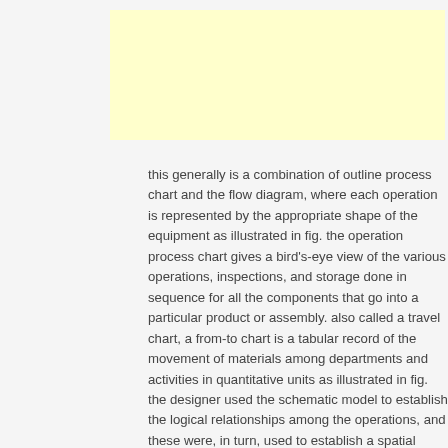[Figure (other): Yellow/cream colored rectangular box at the top of the page]
this generally is a combination of outline process chart and the flow diagram, where each operation is represented by the appropriate shape of the equipment as illustrated in fig. the operation process chart gives a bird's-eye view of the various operations, inspections, and storage done in sequence for all the components that go into a particular product or assembly. also called a travel chart, a from-to chart is a tabular record of the movement of materials among departments and activities in quantitative units as illustrated in fig. the designer used the schematic model to establish the logical relationships among the operations, and these were, in turn, used to establish a spatial arrangement of the equipment that allowed for a smooth flow of material. in chapter 7 we have studied the various recording charts that should be